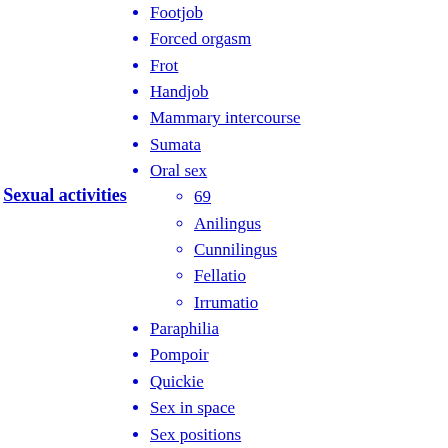Sexual activities
Footjob
Forced orgasm
Frot
Handjob
Mammary intercourse
Sumata
Oral sex
69
Anilingus
Cunnilingus
Fellatio
Irrumatio
Paraphilia
Pompoir
Quickie
Sex in space
Sex positions
Sexual fantasy
Sexual fetishism
Sexual intercourse
Foreplay
Sexual penetration
Swinging
Tribadism
Urethral intercourse